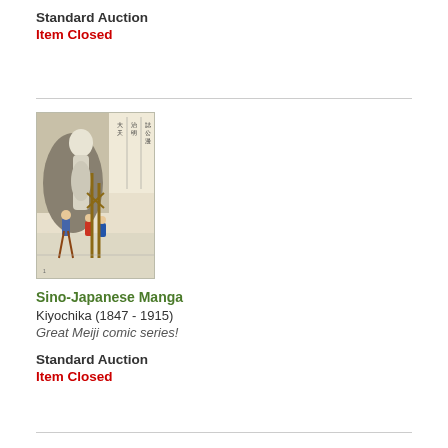Standard Auction
Item Closed
[Figure (illustration): Japanese woodblock print style illustration showing a large ghostly figure in the background and small children playing with stilts or poles in the foreground, with Japanese text in the upper right corner. Sino-Japanese Manga artwork by Kiyochika.]
Sino-Japanese Manga
Kiyochika (1847 - 1915)
Great Meiji comic series!
Standard Auction
Item Closed